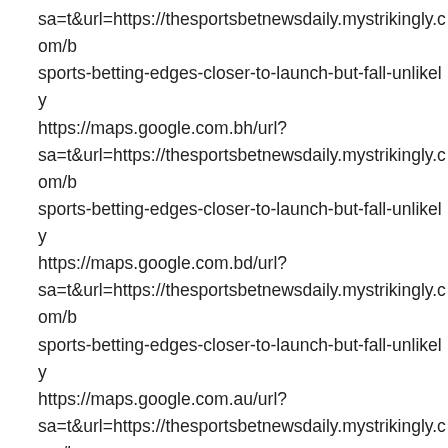sa=t&url=https://thesportsbetnewsdaily.mystrikingly.com/b sports-betting-edges-closer-to-launch-but-fall-unlikely
https://maps.google.com.bh/url? sa=t&url=https://thesportsbetnewsdaily.mystrikingly.com/b sports-betting-edges-closer-to-launch-but-fall-unlikely
https://maps.google.com.bd/url? sa=t&url=https://thesportsbetnewsdaily.mystrikingly.com/b sports-betting-edges-closer-to-launch-but-fall-unlikely
https://maps.google.com.au/url? sa=t&url=https://thesportsbetnewsdaily.mystrikingly.com/b sports-betting-edges-closer-to-launch-but-fall-unlikely
https://maps.google.com.ar/url? sa=t&url=https://thesportsbetnewsdaily.mystrikingly.com/b sports-betting-edges-closer-to-launch-but-fall-unlikely
https://maps.google.com.ag/url? sa=t&url=https://thesportsbetnewsdaily.mystrikingly.com/b